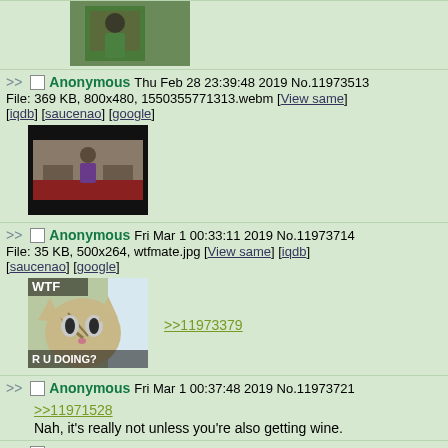[Figure (photo): Cropped top of image showing a person in green shirt]
>> Anonymous Thu Feb 28 23:39:48 2019 No.11973513
File: 369 KB, 800x480, 1550355771313.webm [View same] [iqdb] [saucenao] [google]
[Figure (screenshot): Dark video frame thumbnail showing person dancing in a room with red floor]
>> Anonymous Fri Mar 1 00:33:11 2019 No.11973714
File: 35 KB, 500x264, wtfmate.jpg [View same] [iqdb] [saucenao] [google]
[Figure (photo): WTF cat meme with text overlay WTF and R U DOING]
>>11973379
>> Anonymous Fri Mar 1 00:37:48 2019 No.11973721
>>11971528
Nah, it's really not unless you're also getting wine.
>> Anonymous Fri Mar 1 00:40:53 2019 No.11973734